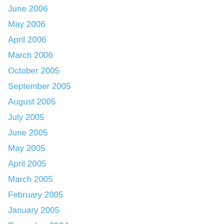June 2006
May 2006
April 2006
March 2006
October 2005
September 2005
August 2005
July 2005
June 2005
May 2005
April 2005
March 2005
February 2005
January 2005
December 2004
November 2004
October 2004
September 2004
August 2004